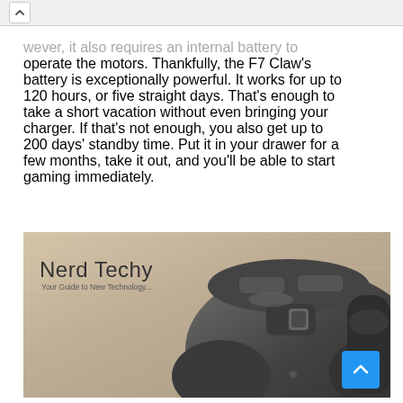wever, it also requires an internal battery to operate the motors. Thankfully, the F7 Claw's battery is exceptionally powerful. It works for up to 120 hours, or five straight days. That's enough to take a short vacation without even bringing your charger. If that's not enough, you also get up to 200 days' standby time. Put it in your drawer for a few months, take it out, and you'll be able to start gaming immediately.
[Figure (photo): Photo of a gaming controller on a wooden surface, with 'Nerd Techy – Your Guide to New Technology' branding overlay in the top-left corner. A blue scroll-to-top button is in the bottom-right corner.]